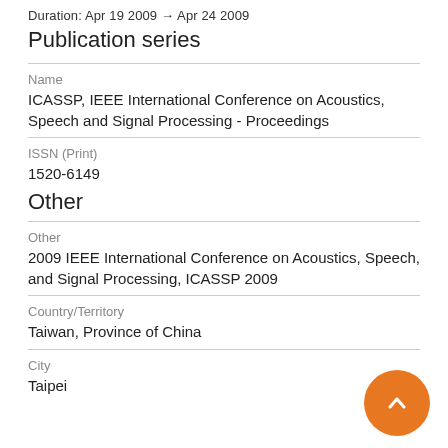Duration: Apr 19 2009 → Apr 24 2009
Publication series
Name
ICASSP, IEEE International Conference on Acoustics, Speech and Signal Processing - Proceedings
ISSN (Print)
1520-6149
Other
Other
2009 IEEE International Conference on Acoustics, Speech, and Signal Processing, ICASSP 2009
Country/Territory
Taiwan, Province of China
City
Taipei